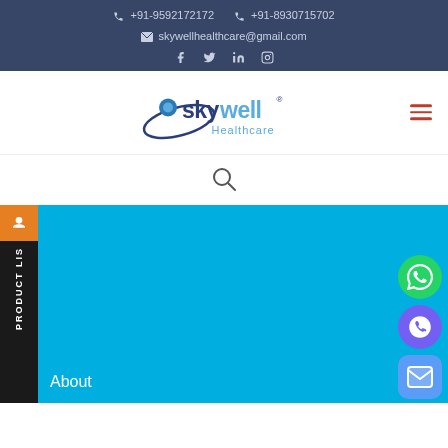+91-9592172172  +91-8930715702  skywellhealthcare@gmail.com
[Figure (logo): Skywell Healthcare logo with orbital swoosh design]
[Figure (other): Search icon (magnifying glass)]
About
[Figure (other): WhatsApp contact icon (green circle with phone)]
[Figure (other): Viber contact icon (purple circle with phone)]
[Figure (other): Email contact icon (blue rounded square with envelope)]